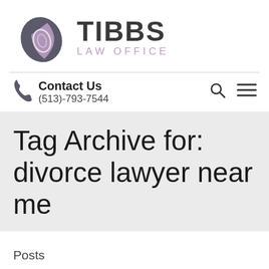[Figure (logo): Tibbs Law Office logo with a stylized leaf shape in dark gray and purple, beside the text TIBBS LAW OFFICE]
Contact Us
(513)-793-7544
Tag Archive for: divorce lawyer near me
Posts
Adoption: Who is a putative Father?
August 24, 2019 / in Adoption, Other Law Topics / by